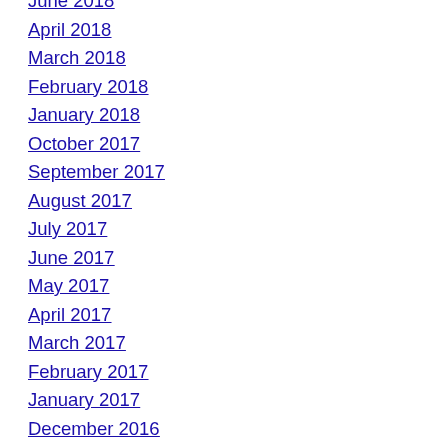June 2018
April 2018
March 2018
February 2018
January 2018
October 2017
September 2017
August 2017
July 2017
June 2017
May 2017
April 2017
March 2017
February 2017
January 2017
December 2016